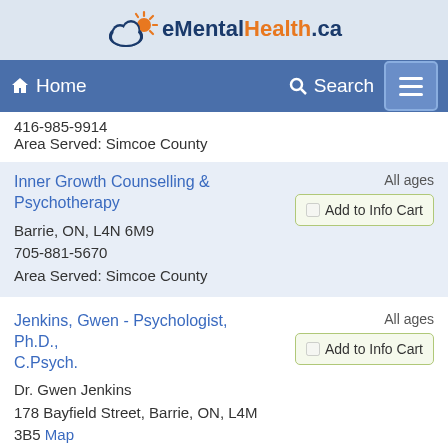eMentalHealth.ca
Home  Search
416-985-9914
Area Served: Simcoe County
Inner Growth Counselling & Psychotherapy
Barrie, ON, L4N 6M9
705-881-5670
Area Served: Simcoe County
All ages
Add to Info Cart
Jenkins, Gwen - Psychologist, Ph.D., C.Psych.
Dr. Gwen Jenkins
178 Bayfield Street, Barrie, ON, L4M 3B5 Map
705-220-5087
Area Served: Simcoe County
All ages
Add to Info Cart
McQuaig, Wendy - Registered
All ages